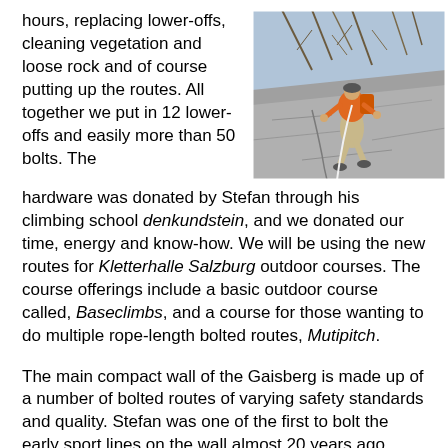hours, replacing lower-offs, cleaning vegetation and loose rock and of course putting up the routes. All together we put in 12 lower-offs and easily more than 50 bolts. The hardware was donated by Stefan through his climbing school denkundstein, and we donated our time, energy and know-how. We will be using the new routes for Kletterhalle Salzburg outdoor courses. The course offerings include a basic outdoor course called, Baseclimbs, and a course for those wanting to do multiple rope-length bolted routes, Mutipitch.
[Figure (photo): A climber in an orange jacket and light pants with a backpack climbing a rock face with ropes, trees visible in the background.]
The main compact wall of the Gaisberg is made up of a number of bolted routes of varying safety standards and quality. Stefan was one of the first to bolt the early sport lines on the wall almost 20 years ago. These routes are 6b/6b+ (5.10d/5.11a) or harder and are generally a bit under-rated. The descriptions and topos are published in a number of area sport climbing guide books.